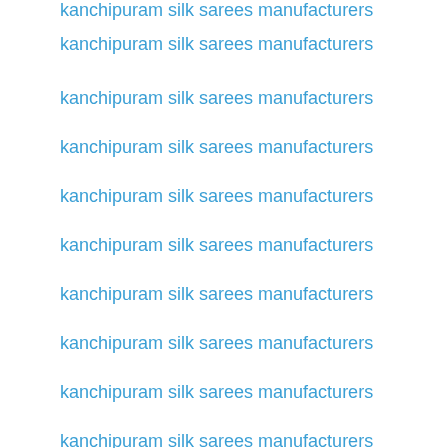kanchipuram silk sarees manufacturers
kanchipuram silk sarees manufacturers
kanchipuram silk sarees manufacturers
kanchipuram silk sarees manufacturers
kanchipuram silk sarees manufacturers
kanchipuram silk sarees manufacturers
kanchipuram silk sarees manufacturers
kanchipuram silk sarees manufacturers
kanchipuram silk sarees manufacturers
kanchipuram silk sarees manufacturers
kanchipuram silk sarees manufacturers
kanchipuram silk sarees manufacturers